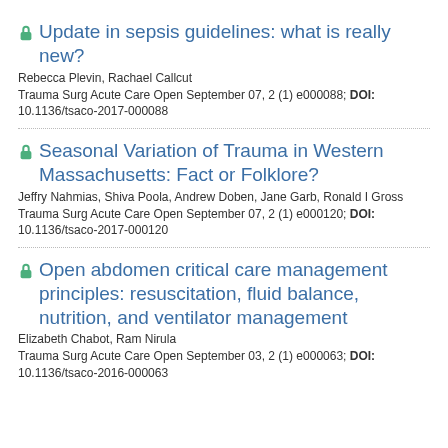Update in sepsis guidelines: what is really new?
Rebecca Plevin, Rachael Callcut
Trauma Surg Acute Care Open September 07, 2 (1) e000088; DOI: 10.1136/tsaco-2017-000088
Seasonal Variation of Trauma in Western Massachusetts: Fact or Folklore?
Jeffry Nahmias, Shiva Poola, Andrew Doben, Jane Garb, Ronald I Gross
Trauma Surg Acute Care Open September 07, 2 (1) e000120; DOI: 10.1136/tsaco-2017-000120
Open abdomen critical care management principles: resuscitation, fluid balance, nutrition, and ventilator management
Elizabeth Chabot, Ram Nirula
Trauma Surg Acute Care Open September 03, 2 (1) e000063; DOI: 10.1136/tsaco-2016-000063